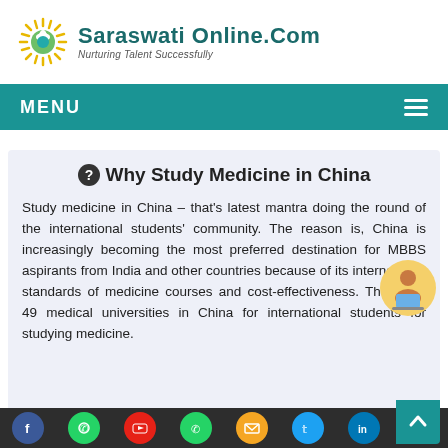[Figure (logo): Saraswati Online.Com logo with lotus/sun icon and tagline 'Nurturing Talent Successfully']
MENU
❓ Why Study Medicine in China
Study medicine in China – that's latest mantra doing the round of the international students' community. The reason is, China is increasingly becoming the most preferred destination for MBBS aspirants from India and other countries because of its international standards of medicine courses and cost-effectiveness. There are 49 medical universities in China for international students for studying medicine.